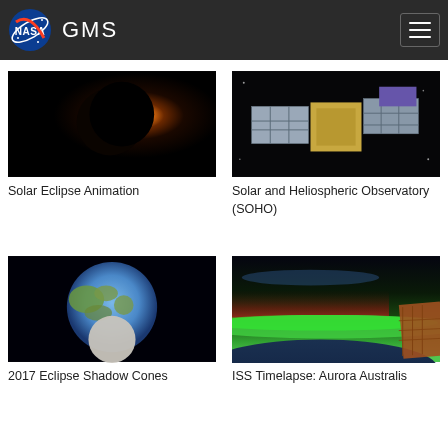NASA GMS
[Figure (photo): Solar eclipse photo showing glowing corona around dark moon disk]
Solar Eclipse Animation
[Figure (photo): Illustration of the Solar and Heliospheric Observatory (SOHO) satellite in space]
Solar and Heliospheric Observatory (SOHO)
[Figure (photo): Visualization of 2017 eclipse shadow cones showing Earth with moon shadow]
2017 Eclipse Shadow Cones
[Figure (photo): ISS timelapse photo of Aurora Australis with green glow over Earth's horizon]
ISS Timelapse: Aurora Australis